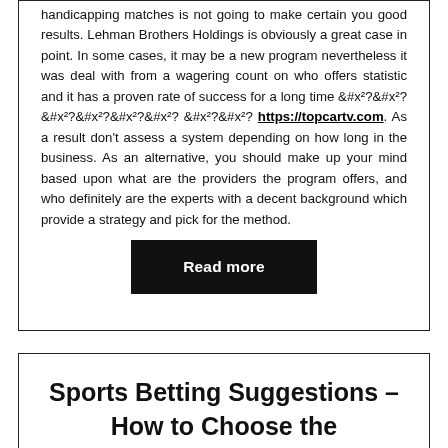handicapping matches is not going to make certain you good results. Lehman Brothers Holdings is obviously a great case in point. In some cases, it may be a new program nevertheless it was deal with from a wagering count on who offers statistic and it has a proven rate of success for a long time 꽁머니 사이트 https://topcartv.com. As a result don't assess a system depending on how long in the business. As an alternative, you should make up your mind based upon what are the providers the program offers, and who definitely are the experts with a decent background which provide a strategy and pick for the method.
Read more
Sports Betting Suggestions – How to Choose the Contestants?